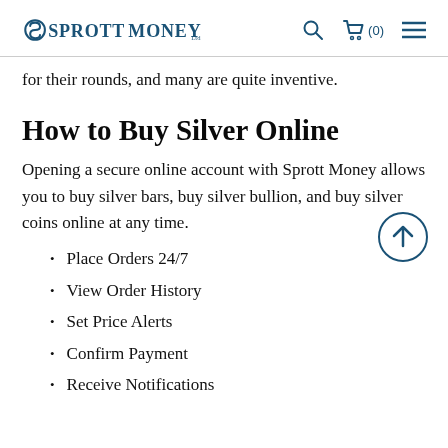Sprott Money — navigation header with logo, search, cart (0), menu
for their rounds, and many are quite inventive.
How to Buy Silver Online
Opening a secure online account with Sprott Money allows you to buy silver bars, buy silver bullion, and buy silver coins online at any time.
Place Orders 24/7
View Order History
Set Price Alerts
Confirm Payment
Receive Notifications